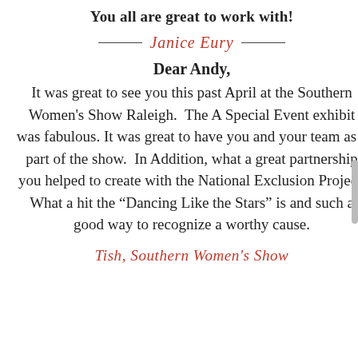You all are great to work with!
— Janice Eury —
Dear Andy,
It was great to see you this past April at the Southern Women's Show Raleigh.  The A Special Event exhibit was fabulous. It was great to have you and your team as a part of the show.  In Addition, what a great partnership you helped to create with the National Exclusion Project. What a hit the “Dancing Like the Stars” is and such a good way to recognize a worthy cause.
Tish, Southern Women's Show